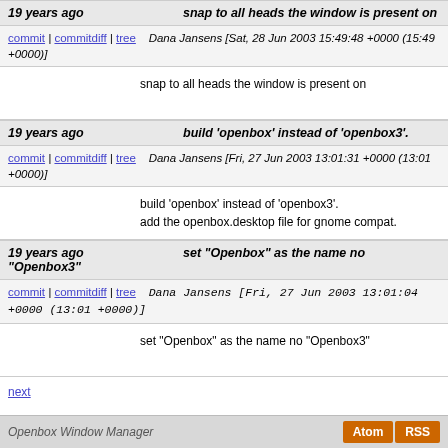19 years ago    snap to all heads the window is present on
commit | commitdiff | tree    Dana Jansens [Sat, 28 Jun 2003 15:49:48 +0000 (15:49 +0000)]
snap to all heads the window is present on
19 years ago    build 'openbox' instead of 'openbox3'.
commit | commitdiff | tree    Dana Jansens [Fri, 27 Jun 2003 13:01:31 +0000 (13:01 +0000)]
build 'openbox' instead of 'openbox3'.
add the openbox.desktop file for gnome compat.
19 years ago    set "Openbox" as the name no "Openbox3"
commit | commitdiff | tree    Dana Jansens [Fri, 27 Jun 2003 13:01:04 +0000 (13:01 +0000)]
set "Openbox" as the name no "Openbox3"
next
Openbox Window Manager